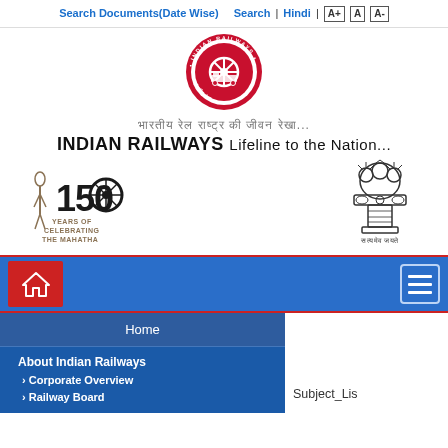Search Documents(Date Wise)  Search | Hindi | A+ A A-
[Figure (logo): Indian Railways circular red logo with train emblem]
भारतीय रेल राष्ट्र की जीवन रेखा...
INDIAN RAILWAYS Lifeline to the Nation...
[Figure (logo): 150 Years Celebrating the Mahatma logo]
[Figure (logo): Government of India Ashoka Pillar emblem with Satyameva Jayate]
[Figure (screenshot): Blue navigation bar with red home button and menu icon]
Home
About Indian Railways
› Corporate Overview
› Railway Board
Subject_Lis